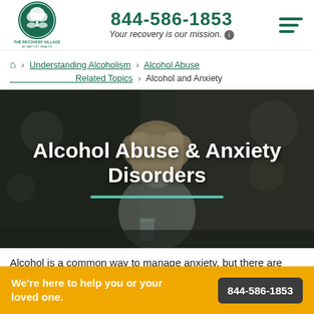844-586-1853 | Your recovery is our mission.
🏠 > Understanding Alcoholism > Alcohol Abuse Related Topics > Alcohol and Anxiety
[Figure (photo): Person with hands on head appearing stressed, sitting at a table with a glass, dark moody background with bokeh]
Alcohol Abuse & Anxiety Disorders
Alcohol is a common way to manage anxiety, but there are
We're here to help you or your loved one.
844-586-1853